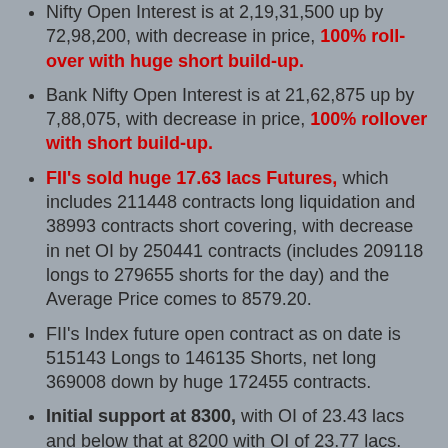Nifty Open Interest is at 2,19,31,500 up by 72,98,200, with decrease in price, 100% roll-over with huge short build-up.
Bank Nifty Open Interest is at 21,62,875 up by 7,88,075, with decrease in price, 100% rollover with short build-up.
FII's sold huge 17.63 lacs Futures, which includes 211448 contracts long liquidation and 38993 contracts short covering, with decrease in net OI by 250441 contracts (includes 209118 longs to 279655 shorts for the day) and the Average Price comes to 8579.20.
FII's Index future open contract as on date is 515143 Longs to 146135 Shorts, net long 369008 down by huge 172455 contracts.
Initial support at 8300, with OI of 23.43 lacs and below that at 8200 with OI of 23.77 lacs.
Initial resistance at 8500, with huge OI addition of 13.95 lacs and above that at 8600 with OI of 22.11 lacs.